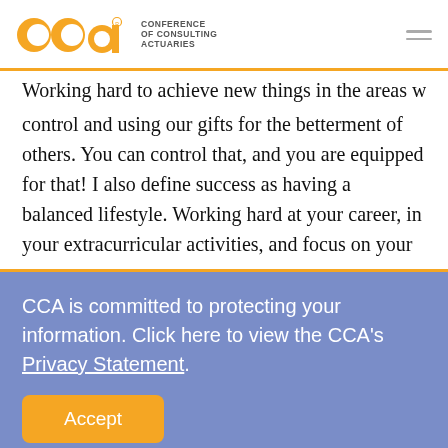CCA Conference of Consulting Actuaries
Working hard to achieve new things in the areas we can control and using our gifts for the betterment of others. You can control that, and you are equipped for that! I also define success as having a balanced lifestyle. Working hard at your career, in your extracurricular activities, and focus on your
CCA is committed to protecting your information. Click here to view the CCA's Privacy Statement.
Accept